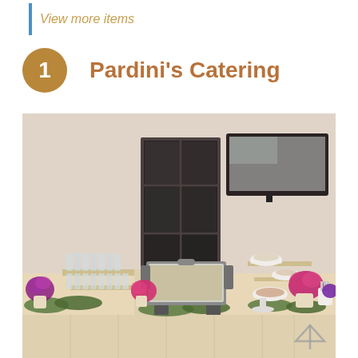View more items
Pardini's Catering
[Figure (photo): A catering buffet table setup in an event room with chafing dishes, white serving bowls, glassware, pink and purple floral arrangements, and greenery garland. A flat-screen TV is mounted on the wall and a glass-paneled door is visible in the background.]